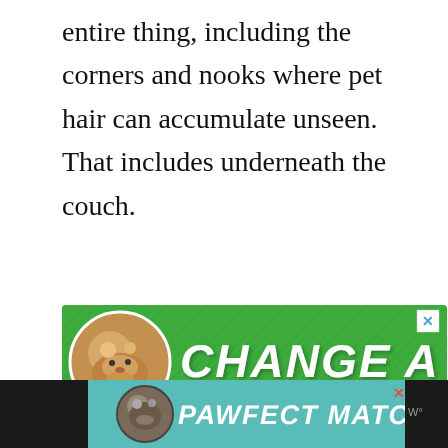entire thing, including the corners and nooks where pet hair can accumulate unseen. That includes underneath the couch.
[Figure (illustration): Green banner advertisement with a dog photo on the left and bold white italic text reading 'CHANGE A LIFE' with a close button (X) in the top right corner and a small heart icon.]
[Figure (illustration): Dark bottom navigation bar with a dog adoption advertisement showing a dog photo and 'PAWFECT MATCH' text in white bold italic letters, with a close/X button and weather icon on the right.]